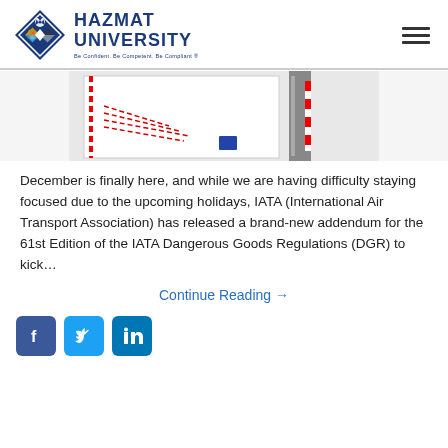HAZMAT UNIVERSITY — Be Confident. Be Competent. Be Compliant®
[Figure (photo): Partial view of hazardous materials packaging/labels with red-and-white striped markings on white boxes, against a gray background]
December is finally here, and while we are having difficulty staying focused due to the upcoming holidays, IATA (International Air Transport Association) has released a brand-new addendum for the 61st Edition of the IATA Dangerous Goods Regulations (DGR) to kick…
Continue Reading →
[Figure (logo): Social media icons: Facebook, Twitter, LinkedIn]